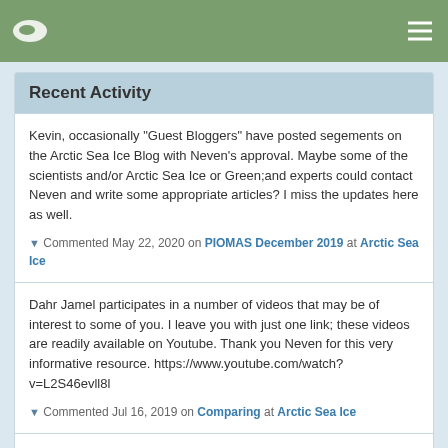Navigation bar with logo and hamburger menu
Recent Activity
Kevin, occasionally "Guest Bloggers" have posted segements on the Arctic Sea Ice Blog with Neven's approval. Maybe some of the scientists and/or Arctic Sea Ice or Green;and experts could contact Neven and write some appropriate articles? I miss the updates here as well.
▼ Commented May 22, 2020 on PIOMAS December 2019 at Arctic Sea Ice
Dahr Jamel participates in a number of videos that may be of interest to some of you. I leave you with just one link; these videos are readily available on Youtube. Thank you Neven for this very informative resource. https://www.youtube.com/watch?v=L2S46evll8l
▼ Commented Jul 16, 2019 on Comparing at Arctic Sea Ice
Sam, your reasoning about liberals and conservatives is spot on. It is so frustrating at times. Evidence and logic